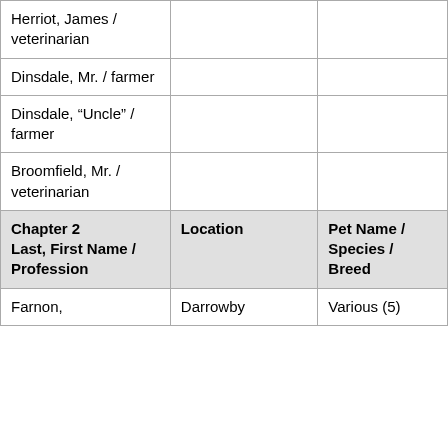| Last, First Name / Profession | Location | Pet Name / Species / Breed |
| --- | --- | --- |
| Herriot, James / veterinarian |  |  |
| Dinsdale, Mr. / farmer |  |  |
| Dinsdale, “Uncle” / farmer |  |  |
| Broomfield, Mr. / veterinarian |  |  |
| Chapter 2
Last, First Name / Profession | Location | Pet Name / Species / Breed |
| Farnon, | Darrowby | Various (5) |